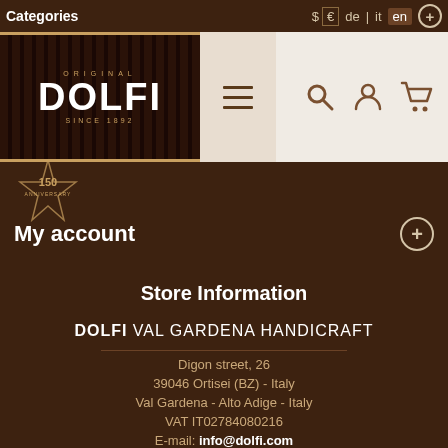Categories
[Figure (logo): Dolfi Original logo with vertical bar stripes background and 'SINCE 1892' text]
My account
Store Information
DOLFI VAL GARDENA HANDICRAFT
Digon street, 26
39046 Ortisei (BZ) - Italy
Val Gardena - Alto Adige - Italy
VAT IT02784080216
E-mail: info@dolfi.com